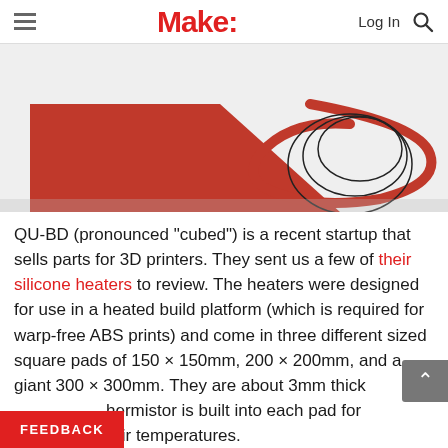Make:
[Figure (photo): Close-up photo of red silicone heater pad and coiled wires on a light gray background]
QU-BD (pronounced "cubed") is a recent startup that sells parts for 3D printers. They sent us a few of their silicone heaters to review. The heaters were designed for use in a heated build platform (which is required for warp-free ABS prints) and come in three different sized square pads of 150 × 150mm, 200 × 200mm, and a giant 300 × 300mm. They are about 3mm thick [and a] thermistor is built into each pad for measuring their temperatures.